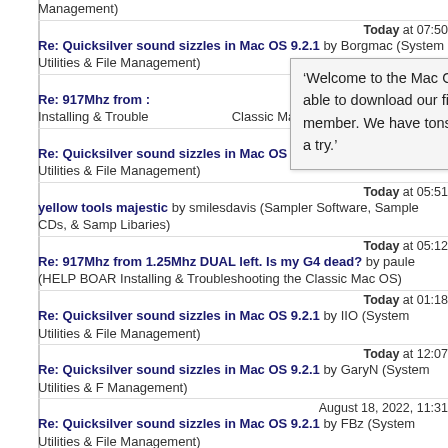Management)
Today at 07:50
Re: Quicksilver sound sizzles in Mac OS 9.2.1 by Borgmac (System Utilities & Management)
[Figure (screenshot): Modal popup: 'Welcome to the Mac OS 9 Lives! Forum You will NOT be able to download our files until you register to become a member. We have tons of FREE stuff waiting for you, do give it a try.']
Today at 07:39
Re: 917Mhz from ... by ... (HELP BOARD Installing & Troubleshooting the Classic Mac OS)
Today at 07:09
Re: Quicksilver sound sizzles in Mac OS 9.2.1 by FBz (System Utilities & File Management)
Today at 05:51
yellow tools majestic by smilesdavis (Sampler Software, Sample CDs, & Sample Libaries)
Today at 05:12
Re: 917Mhz from 1.25Mhz DUAL left. Is my G4 dead? by paule (HELP BOARD Installing & Troubleshooting the Classic Mac OS)
Today at 01:18
Re: Quicksilver sound sizzles in Mac OS 9.2.1 by IIO (System Utilities & File Management)
Today at 12:07
Re: Quicksilver sound sizzles in Mac OS 9.2.1 by GaryN (System Utilities & F... Management)
August 18, 2022, 11:31
Re: Quicksilver sound sizzles in Mac OS 9.2.1 by FBz (System Utilities & File Management)
August 18, 2022, 07:12
Re: iMac G3 freezes on file transfers by Greystash (HELP BOARD ! Installing Troubleshooting the Classic Mac OS)
August 18, 2022, 04:48
Quicksilver sound sizzles in Mac OS 9.2.1 by Borgmac (System Utilities & File Management)